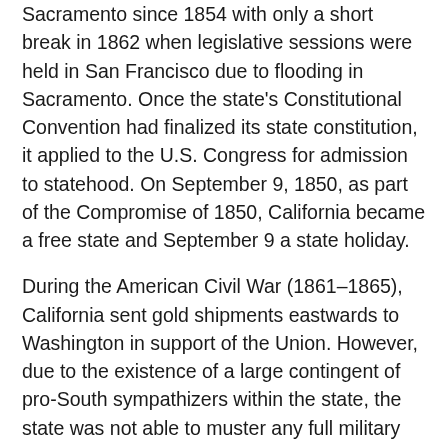Sacramento since 1854 with only a short break in 1862 when legislative sessions were held in San Francisco due to flooding in Sacramento. Once the state's Constitutional Convention had finalized its state constitution, it applied to the U.S. Congress for admission to statehood. On September 9, 1850, as part of the Compromise of 1850, California became a free state and September 9 a state holiday.
During the American Civil War (1861–1865), California sent gold shipments eastwards to Washington in support of the Union. However, due to the existence of a large contingent of pro-South sympathizers within the state, the state was not able to muster any full military